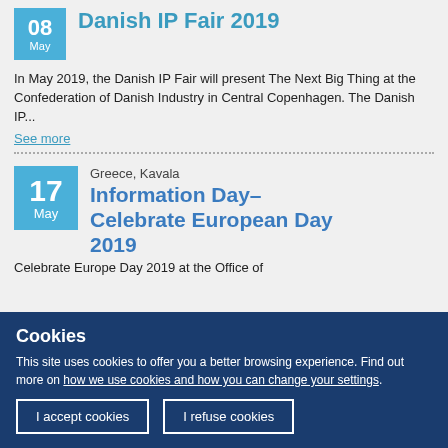Danish IP Fair 2019
In May 2019, the Danish IP Fair will present The Next Big Thing at the Confederation of Danish Industry in Central Copenhagen. The Danish IP...
See more
Information Day- Celebrate European Day 2019
Greece, Kavala
Celebrate Europe Day 2019 at the Office of
Cookies
This site uses cookies to offer you a better browsing experience. Find out more on how we use cookies and how you can change your settings.
I accept cookies
I refuse cookies